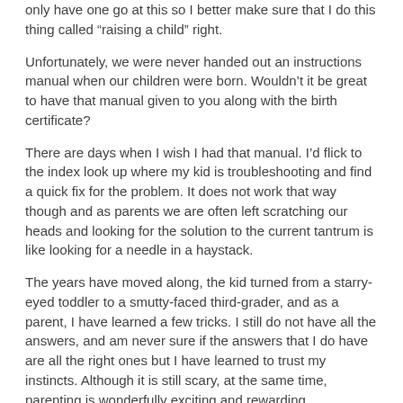only have one go at this so I better make sure that I do this thing called “raising a child” right.
Unfortunately, we were never handed out an instructions manual when our children were born. Wouldn’t it be great to have that manual given to you along with the birth certificate?
There are days when I wish I had that manual. I’d flick to the index look up where my kid is troubleshooting and find a quick fix for the problem. It does not work that way though and as parents we are often left scratching our heads and looking for the solution to the current tantrum is like looking for a needle in a haystack.
The years have moved along, the kid turned from a starry-eyed toddler to a smutty-faced third-grader, and as a parent, I have learned a few tricks. I still do not have all the answers, and am never sure if the answers that I do have are all the right ones but I have learned to trust my instincts. Although it is still scary, at the same time, parenting is wonderfully exciting and rewarding.